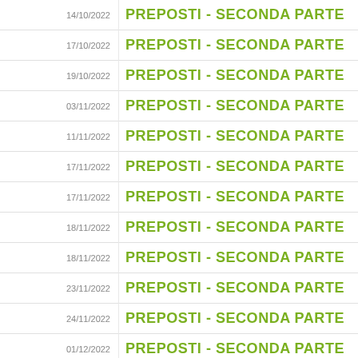| Data | Titolo |
| --- | --- |
| 14/10/2022 | PREPOSTI - SECONDA PARTE |
| 17/10/2022 | PREPOSTI - SECONDA PARTE |
| 19/10/2022 | PREPOSTI - SECONDA PARTE |
| 03/11/2022 | PREPOSTI - SECONDA PARTE |
| 11/11/2022 | PREPOSTI - SECONDA PARTE |
| 17/11/2022 | PREPOSTI - SECONDA PARTE |
| 17/11/2022 | PREPOSTI - SECONDA PARTE |
| 18/11/2022 | PREPOSTI - SECONDA PARTE |
| 18/11/2022 | PREPOSTI - SECONDA PARTE |
| 23/11/2022 | PREPOSTI - SECONDA PARTE |
| 24/11/2022 | PREPOSTI - SECONDA PARTE |
| 01/12/2022 | PREPOSTI - SECONDA PARTE |